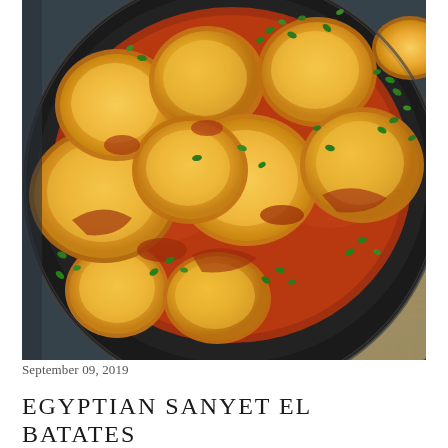[Figure (photo): Close-up photo of Egyptian Sanyet El Batates — golden potato slices cooked in tomato sauce, garnished with fresh chopped green herbs (parsley), served in a dark oval cast iron pan on a burlap cloth background.]
September 09, 2019
EGYPTIAN SANYET EL BATATES